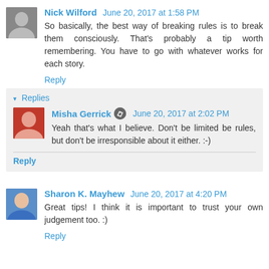Nick Wilford  June 20, 2017 at 1:58 PM
So basically, the best way of breaking rules is to break them consciously. That's probably a tip worth remembering. You have to go with whatever works for each story.
Reply
Replies
Misha Gerrick  June 20, 2017 at 2:02 PM
Yeah that's what I believe. Don't be limited be rules, but don't be irresponsible about it either. :-)
Reply
Sharon K. Mayhew  June 20, 2017 at 4:20 PM
Great tips! I think it is important to trust your own judgement too. :)
Reply